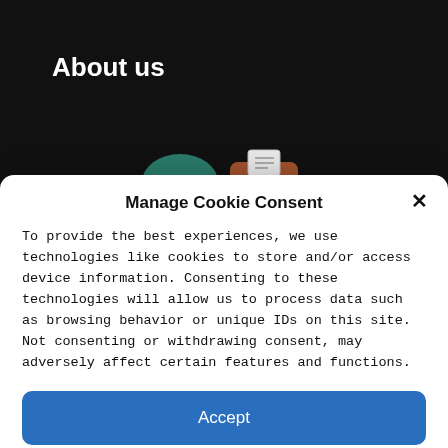About us
[Figure (illustration): Dark background with partial illustration of characters and a document icon]
Manage Cookie Consent
To provide the best experiences, we use technologies like cookies to store and/or access device information. Consenting to these technologies will allow us to process data such as browsing behavior or unique IDs on this site. Not consenting or withdrawing consent, may adversely affect certain features and functions.
Accept
Deny